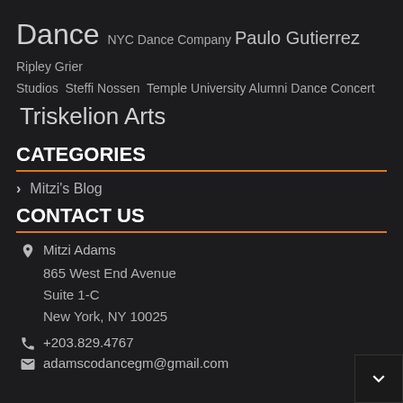Dance NYC Dance Company Paulo Gutierrez Ripley Grier Studios Steffi Nossen Temple University Alumni Dance Concert Triskelion Arts
CATEGORIES
Mitzi's Blog
CONTACT US
Mitzi Adams
865 West End Avenue
Suite 1-C
New York, NY 10025
+203.829.4767
adamscodancegm@gmail.com